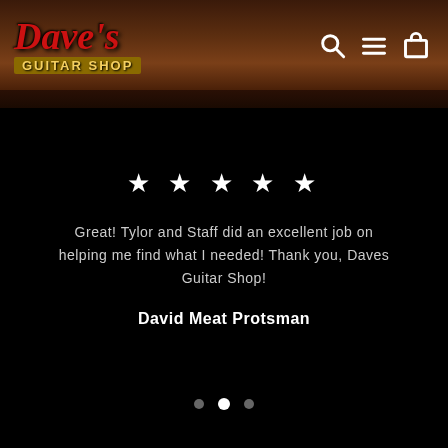[Figure (logo): Dave's Guitar Shop logo — red italic 'Dave's' text with yellow 'GUITAR SHOP' on dark brown banner]
[Figure (infographic): Five white star rating]
Great! Tylor and Staff did an excellent job on helping me find what I needed! Thank you, Daves Guitar Shop!
David Meat Protsman
[Figure (infographic): Carousel navigation dots — three dots with middle dot active/white]